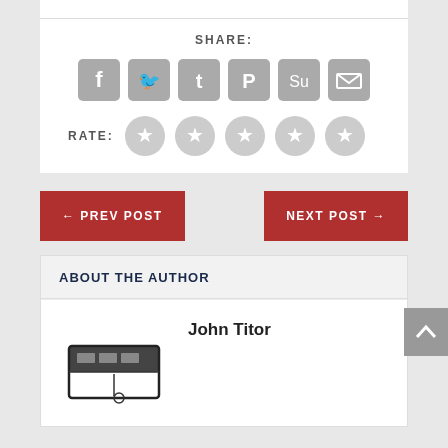SHARE:
[Figure (infographic): Social sharing icons: Facebook, Twitter, Tumblr, Pinterest, StumbleUpon, Email — grey rounded square buttons]
RATE:
[Figure (infographic): Five grey star rating circles]
← PREV POST
NEXT POST →
ABOUT THE AUTHOR
John Titor
[Figure (illustration): Black and white illustration of an open case/box with equipment inside]